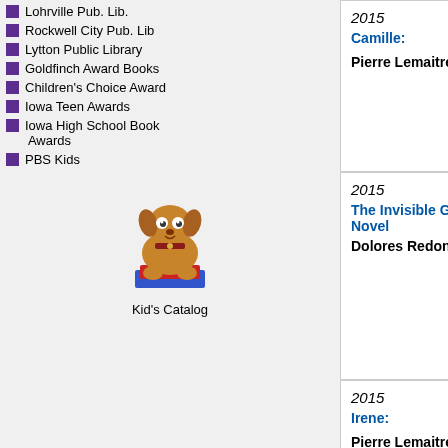Lohrville Pub. Lib.
Rockwell City Pub. Lib
Lytton Public Library
Goldfinch Award Books
Children's Choice Awards
Iowa Teen Awards
Iowa High School Book Awards
PBS Kids
[Figure (illustration): Cartoon dog mascot sitting on books, labeled Kid's Catalog]
Kid's Catalog
2015
Camille:
Pierre Lemaitre
[Figure (illustration): Book cover of Camille by Pierre Lemaitre - dark cover with partial face]
2015
Cobra
De
[Figure (illustration): Book cover of Cobra - text COBRA DEON MEYER on dark background]
2015
The Invisible Guardian: A Novel
Dolores Redondo
[Figure (illustration): Book cover of The Invisible Guardian by Dolores Redondo]
2015
Into a Raging
Andreas Norm
2015
Irene:
Pierre Lemaitre
[Figure (illustration): Book cover of Irene by Pierre Lemaitre - dark cover with eyes]
2014
Siege: A Novel
Ar Re
[Figure (illustration): Book cover of The Siege - showing THE SIEGE text]